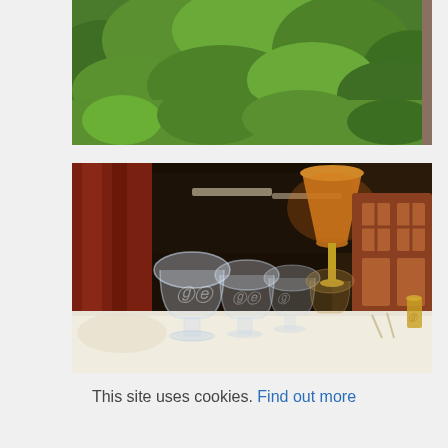[Figure (photo): Aerial view of lush green hillside with dense tropical vegetation and trees]
[Figure (photo): Elegant dining table setting with crystal wine glasses engraved with monogram, a warm glowing table lamp, red curtains and decorative wood paneling in background]
This site uses cookies. Find out more